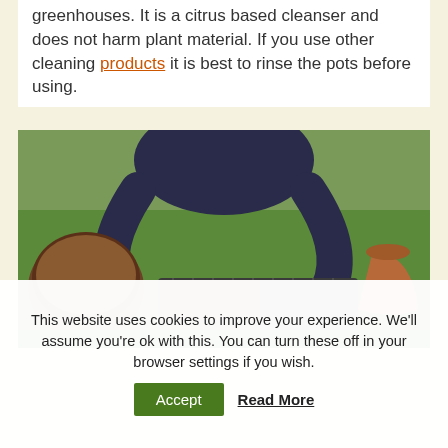greenhouses. It is a citrus based cleanser and does not harm plant material. If you use other cleaning products it is best to rinse the pots before using.
[Figure (photo): Person filling seed starter tray with soil/compost outdoors on grass, with a round tray of soil on the left and a terracotta pot visible on the right.]
This website uses cookies to improve your experience. We'll assume you're ok with this. You can turn these off in your browser settings if you wish.